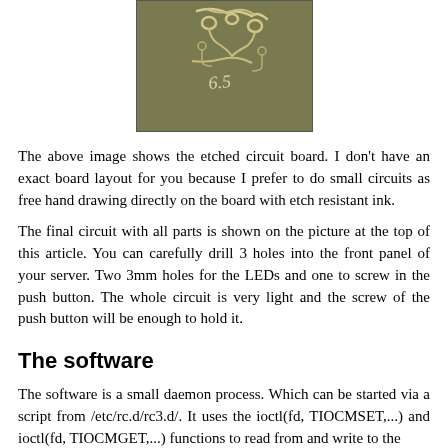[Figure (photo): Photo of an etched circuit board with hand-drawn traces and the marking '6.5' visible on the board.]
The above image shows the etched circuit board. I don't have an exact board layout for you because I prefer to do small circuits as free hand drawing directly on the board with etch resistant ink.
The final circuit with all parts is shown on the picture at the top of this article. You can carefully drill 3 holes into the front panel of your server. Two 3mm holes for the LEDs and one to screw in the push button. The whole circuit is very light and the screw of the push button will be enough to hold it.
The software
The software is a small daemon process. Which can be started via a script from /etc/rc.d/rc3.d/. It uses the ioctl(fd, TIOCMSET,...) and ioctl(fd, TIOCMGET,...) functions to read from and write to the...